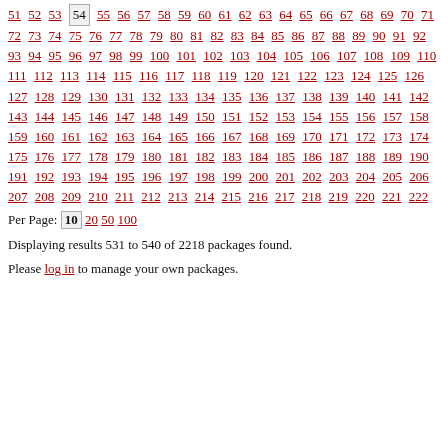Navigation pagination: 51 52 53 54(current) 55 56 57 58 59 60 61 62 63 64 65 66 67 68 69 70 71 72 73 74 75 76 77 78 79 80 81 82 83 84 85 86 87 88 89 90 91 92 93 94 95 96 97 98 99 100 101 102 103 104 105 106 107 108 109 110 111 112 113 114 115 116 117 118 119 120 121 122 123 124 125 126 127 128 129 130 131 132 133 134 135 136 137 138 139 140 141 142 143 144 145 146 147 148 149 150 151 152 153 154 155 156 157 158 159 160 161 162 163 164 165 166 167 168 169 170 171 172 173 174 175 176 177 178 179 180 181 182 183 184 185 186 187 188 189 190 191 192 193 194 195 196 197 198 199 200 201 202 203 204 205 206 207 208 209 210 211 212 213 214 215 216 217 218 219 220 221 222
Per Page: 10 20 50 100
Displaying results 531 to 540 of 2218 packages found.
Please log in to manage your own packages.